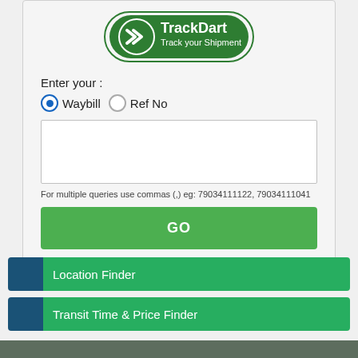[Figure (logo): TrackDart logo — green rounded rectangle with arrow icon and text 'TrackDart Track your Shipment']
Enter your :
Waybill   Ref No
For multiple queries use commas (,) eg: 79034111122, 79034111041
GO
How to track >
Location Finder
Transit Time & Price Finder